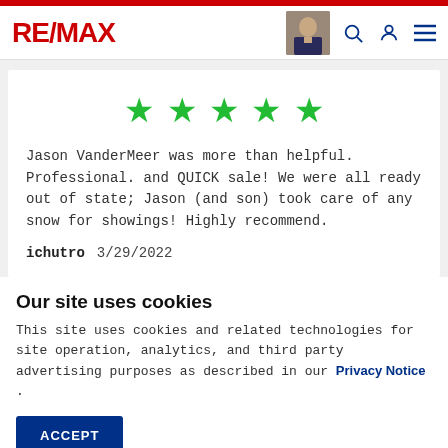RE/MAX
[Figure (other): Five green stars rating (5 out of 5)]
Jason VanderMeer was more than helpful. Professional. and QUICK sale! We were all ready out of state; Jason (and son) took care of any snow for showings! Highly recommend.
ichutro   3/29/2022
Our site uses cookies
This site uses cookies and related technologies for site operation, analytics, and third party advertising purposes as described in our Privacy Notice .
ACCEPT